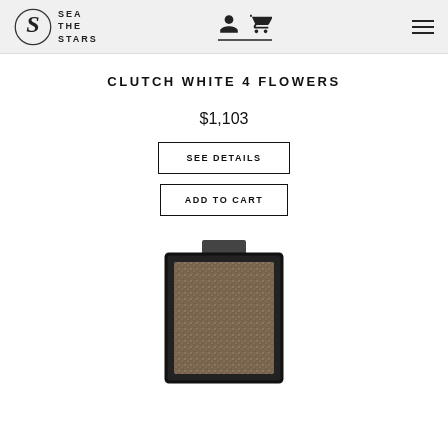SEA THE STARS
CLUTCH WHITE 4 FLOWERS
$1,103
SEE DETAILS
ADD TO CART
[Figure (photo): A black glittery/crystal-encrusted rectangular clutch bag with a dark clasp at the top, photographed from the front.]